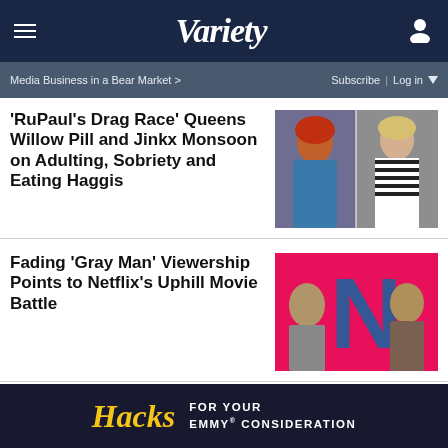VARIETY
Media Business in a Bear Market >  Subscribe | Log in
'RuPaul's Drag Race' Queens Willow Pill and Jinkx Monsoon on Adulting, Sobriety and Eating Haggis
[Figure (photo): Two drag queens side by side, one with red hair in blue gown, one with blonde hair in striped outfit]
Fading 'Gray Man' Viewership Points to Netflix's Uphill Movie Battle
[Figure (photo): Netflix promotional image for The Gray Man with large N logo and two actors]
Tom Holland Taking a Break From Social Media for His Mental Health
[Figure (photo): Tom Holland headshot]
[Figure (other): Ad banner: Hacks - For Your Emmy Consideration]